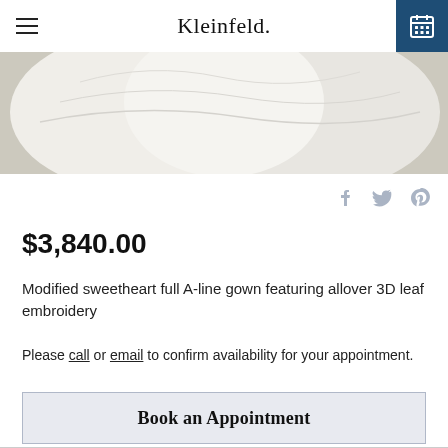Kleinfeld.
[Figure (photo): Close-up photo of a white wedding gown with textured 3D leaf embroidery detail, cropped to show fabric and embellishment.]
$3,840.00
Modified sweetheart full A-line gown featuring allover 3D leaf embroidery
Please call or email to confirm availability for your appointment.
Book an Appointment